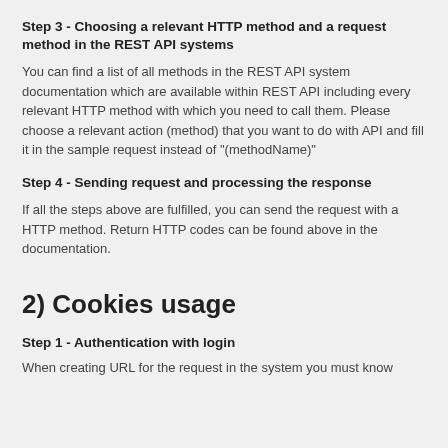Step 3 - Choosing a relevant HTTP method and a request method in the REST API systems
You can find a list of all methods in the REST API system documentation which are available within REST API including every relevant HTTP method with which you need to call them. Please choose a relevant action (method) that you want to do with API and fill it in the sample request instead of "(methodName)"
Step 4 - Sending request and processing the response
If all the steps above are fulfilled, you can send the request with a HTTP method. Return HTTP codes can be found above in the documentation.
2) Cookies usage
Step 1 - Authentication with login
When creating URL for the request in the system you must know